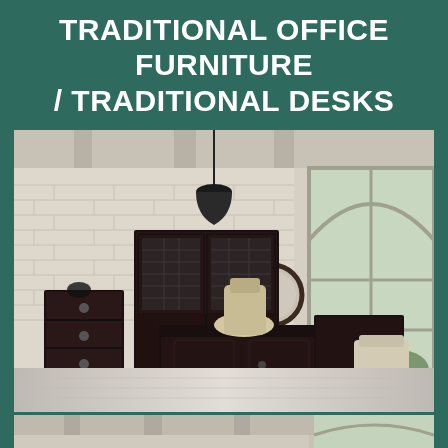TRADITIONAL OFFICE FURNITURE / TRADITIONAL DESKS
[Figure (photo): Interior photo of a traditional dark wood office set against a white brick wall background. The set includes an executive L-shaped desk with raised panel details, a hutch with glass-front cabinet doors, a lateral file cabinet, an executive chair with cream upholstery, and a side chair with patterned fabric. A round mirror and industrial pendant light hang on the wall. Large arched windows let in natural light.]
[Figure (photo): Partial bottom strip showing the top portion of the same or similar office scene, cropped — white ceiling beams and arched window visible.]